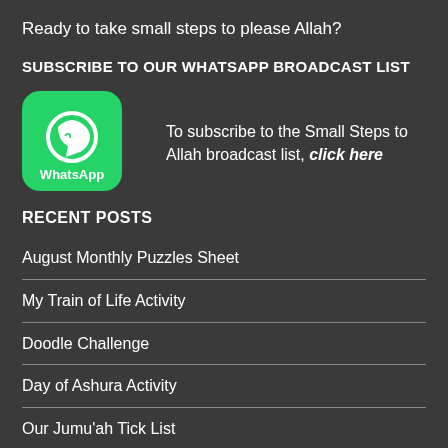Ready to take small steps to please Allah?
SUBSCRIBE TO OUR WHATSAPP BROADCAST LIST
[Figure (logo): WhatsApp logo: green rounded square with white phone handset icon and 'WhatsApp' text below]
To subscribe to the Small Steps to Allah broadcast list, click here
RECENT POSTS
August Monthly Puzzles Sheet
My Train of Life Activity
Doodle Challenge
Day of Ashura Activity
Our Jumu'ah Tick List